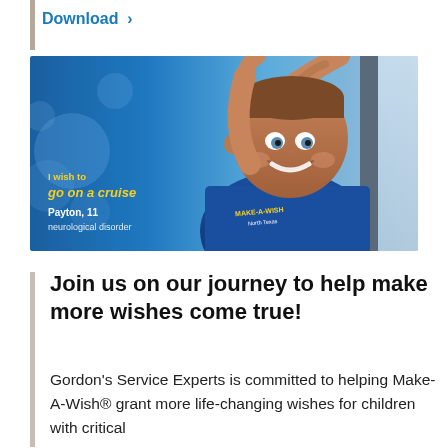Download >
[Figure (photo): A smiling boy wearing a blue Make-A-Wish t-shirt, leaning against a window with arms raised. Text overlay reads: 'I wish to go on a cruise' with name 'Payton, 11' and condition 'neurological disorder'.]
Join us on our journey to help make more wishes come true!
Gordon's Service Experts is committed to helping Make-A-Wish® grant more life-changing wishes for children with critical